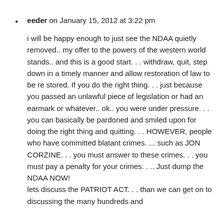eeder on January 15, 2012 at 3:22 pm
i will be happy enough to just see the NDAA quietly removed.. my offer to the powers of the western world stands.. and this is a good start. . . withdraw, quit, step down in a timely manner and allow restoration of law to be re stored. If you do the right thing. . . just because you passed an unlawful piece of legislation or had an earmark or whatever.. ok.. you were under pressure. . . you can basically be pardoned and smiled upon for doing the right thing and quitting. . . HOWEVER, people who have committed blatant crimes. ... such as JON CORZINE. . . you must answer to these crimes. . . you must pay a penalty for your crimes. . .. Just dump the NDAA NOW! lets discuss the PATRIOT ACT. . . than we can get on to discussing the many hundreds and